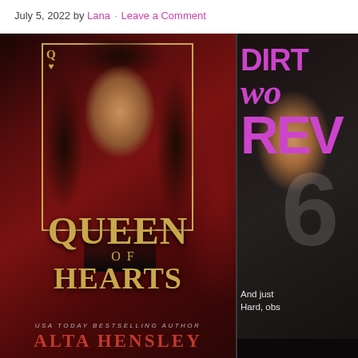July 5, 2022 by Lana · Leave a Comment
[Figure (photo): Two book covers side by side. Left: 'Queen of Hearts' by Alta Hensley (USA Today Bestselling Author) — dark red background with a woman's face and a playing card Q♥ frame, gold ornate title lettering. Right: Partial cover of 'Dirty Wordy Reveal' — dark background with a woman's face, large purple/magenta text 'DIRT', 'wo', 'REV', and white text 'And just' / 'Hard, obs' partially visible.]